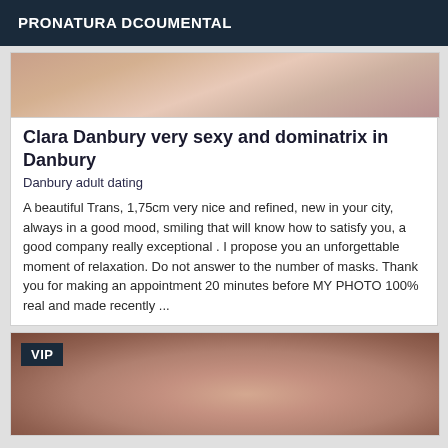PRONATURA DCOUMENTAL
[Figure (photo): Top portion of a photo showing skin/body, upper part cropped]
Clara Danbury very sexy and dominatrix in Danbury
Danbury adult dating
A beautiful Trans, 1,75cm very nice and refined, new in your city, always in a good mood, smiling that will know how to satisfy you, a good company really exceptional . I propose you an unforgettable moment of relaxation. Do not answer to the number of masks. Thank you for making an appointment 20 minutes before MY PHOTO 100% real and made recently ...
[Figure (photo): Close-up photo of a woman's face with VIP badge overlay in top left corner]